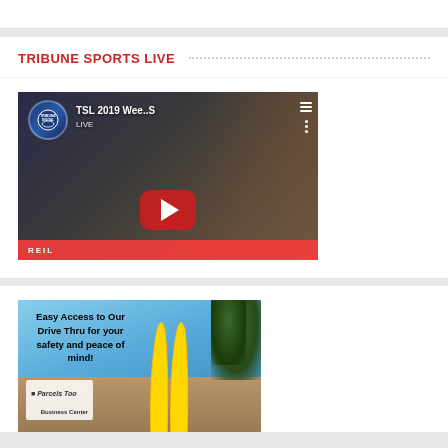TRIBUNE SPORTS LIVE
[Figure (screenshot): YouTube video thumbnail for TSL 2019 Week... showing two men seated in a TV studio with brick wall background, Tribune Digital logo in top left, red YouTube play button in center]
[Figure (photo): McDonald's advertisement showing Parcels Too business with text: Easy Access to Our Drive Thru for your safety and peace of mind! with yellow arches visible]